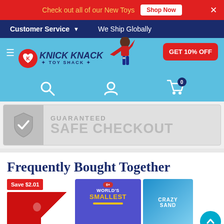Check out all of our New Toys  Shop Now  ×
Customer Service ▼   We Ship Globally
[Figure (logo): Knick Knack Toy Shack logo with superhero character and heart icon]
GET 10% OFF
[Figure (infographic): Guaranteed Safe Checkout badge with shield and checkmark]
Frequently Bought Together
[Figure (photo): Product image with Save $2.01 badge]
[Figure (photo): World's Smallest toy product image]
[Figure (photo): Third product image partially visible]